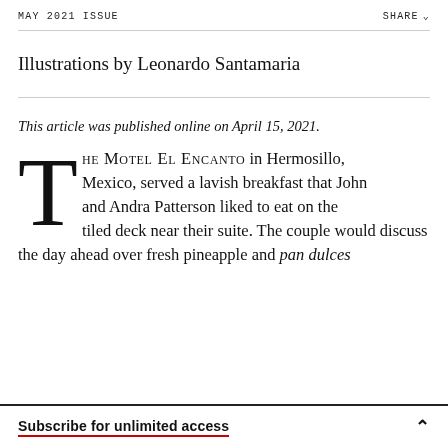MAY 2021 ISSUE    SHARE
Illustrations by Leonardo Santamaria
This article was published online on April 15, 2021.
THE MOTEL EL ENCANTO in Hermosillo, Mexico, served a lavish breakfast that John and Andra Patterson liked to eat on the tiled deck near their suite. The couple would discuss the day ahead over fresh pineapple and pan dulces
Subscribe for unlimited access